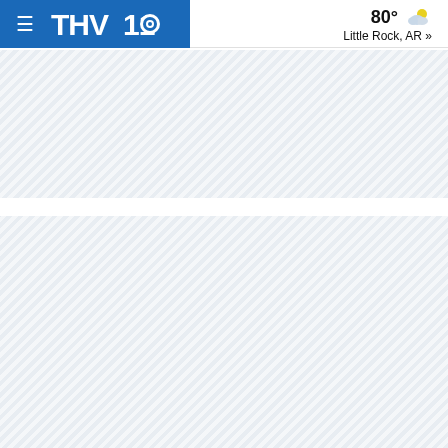[Figure (screenshot): THV11 CBS news website header/navigation bar. Blue section on left with hamburger menu icon and THV11 CBS logo in white. Right side shows weather: 80° with partly cloudy icon, and 'Little Rock, AR »' location link.]
[Figure (other): Diagonal stripe placeholder/loading area for advertisement or content banner (first banner area, lighter gray-blue diagonal hatching pattern)]
[Figure (other): Diagonal stripe placeholder/loading area for advertisement or content banner (second, larger banner area, lighter gray-blue diagonal hatching pattern)]